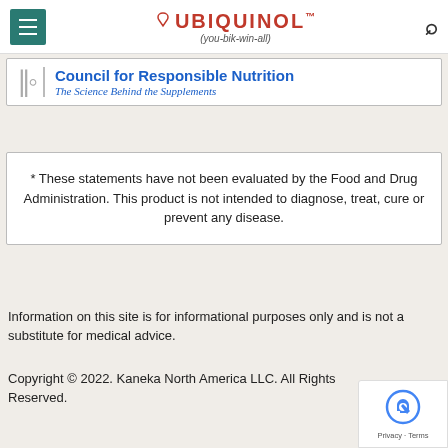[Figure (logo): Ubiquinol logo with hamburger menu icon on left and search icon on right in top navigation bar]
[Figure (logo): Council for Responsible Nutrition logo with fork/spoon symbol and text 'The Science Behind the Supplements']
* These statements have not been evaluated by the Food and Drug Administration. This product is not intended to diagnose, treat, cure or prevent any disease.
Information on this site is for informational purposes only and is not a substitute for medical advice.
Copyright © 2022. Kaneka North America LLC. All Rights Reserved.